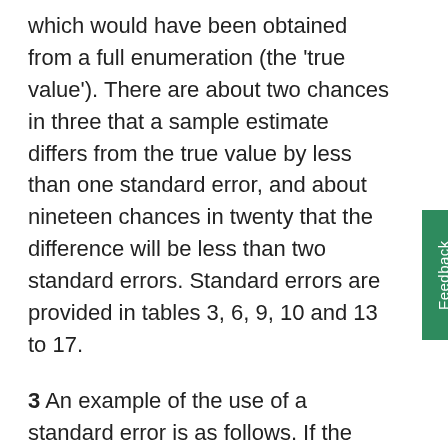which would have been obtained from a full enumeration (the 'true value'). There are about two chances in three that a sample estimate differs from the true value by less than one standard error, and about nineteen chances in twenty that the difference will be less than two standard errors. Standard errors are provided in tables 3, 6, 9, 10 and 13 to 17.
3 An example of the use of a standard error is as follows. If the estimated average earnings were $1,100.00 with a standard error of $7.00, then there would be about two chances in three that a full enumeration would have given an